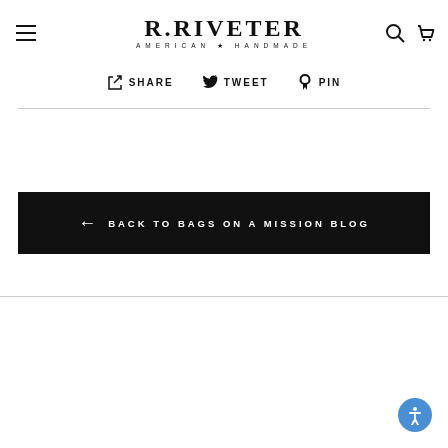R.RIVETER AMERICAN ★ HANDMADE
Share  Tweet  Pin
← BACK TO BAGS ON A MISSION BLOG
[Figure (other): Accessibility button (blue circle with person icon) in bottom right corner]